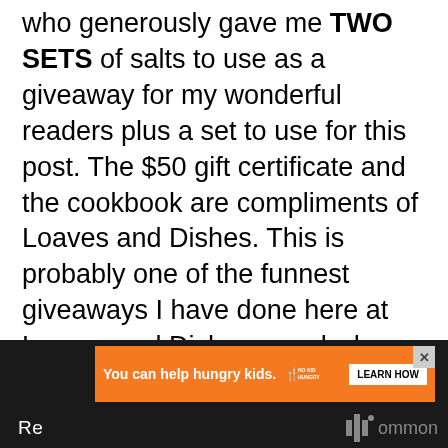who generously gave me TWO SETS of salts to use as a giveaway for my wonderful readers plus a set to use for this post. The $50 gift certificate and the cookbook are compliments of Loaves and Dishes. This is probably one of the funnest giveaways I have done here at Loaves and Dishes – and when you combine that with this yummy recipe, WHOOT WHOOT! Love it! For today's recipe, I want you to take an imaginary tasting trip around the world riding on the crispy shell of a perfectly cooked potato –  Southern Fried Breakfast Potatoes! LOL. That got your attention, didn't it?
[Figure (screenshot): Advertisement banner: orange background with 'You can help hungry kids.' text, No Kid Hungry logo, and 'LEARN HOW' button. Close (X) button in upper right.]
Re                                                ommon